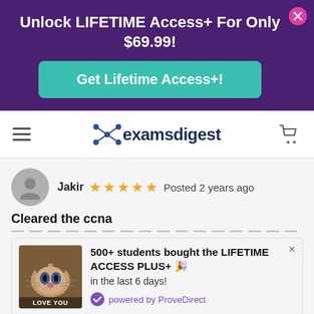Unlock LIFETIME Access+ For Only $69.99!
Get Lifetime Access+!
[Figure (logo): examsdigest logo with molecule/network icon]
Jakir  ★★★★★  Posted 2 years ago
Cleared the ccna
500+ students bought the LIFETIME ACCESS PLUS+ 🎉 in the last 6 days! powered by ProveDirect